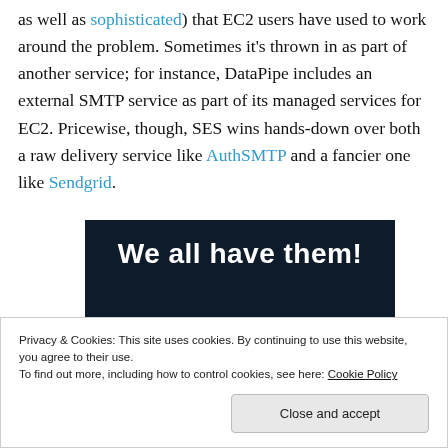as well as sophisticated) that EC2 users have used to work around the problem. Sometimes it's thrown in as part of another service; for instance, DataPipe includes an external SMTP service as part of its managed services for EC2. Pricewise, though, SES wins hands-down over both a raw delivery service like AuthSMTP and a fancier one like Sendgrid.
[Figure (photo): Dark background image with bold white text reading 'We all have them!' and a pink/rose colored bar element and a light gray circle at the bottom.]
Privacy & Cookies: This site uses cookies. By continuing to use this website, you agree to their use. To find out more, including how to control cookies, see here: Cookie Policy